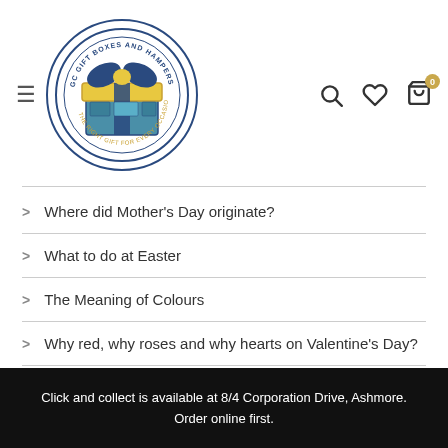[Figure (logo): GC Gift Boxes and Hampers circular logo with yellow and blue gift box illustration]
Where did Mother's Day originate?
What to do at Easter
The Meaning of Colours
Why red, why roses and why hearts on Valentine's Day?
My Account
My Account
Delivery Information
Contact
Click and collect is available at 8/4 Corporation Drive, Ashmore. Order online first.